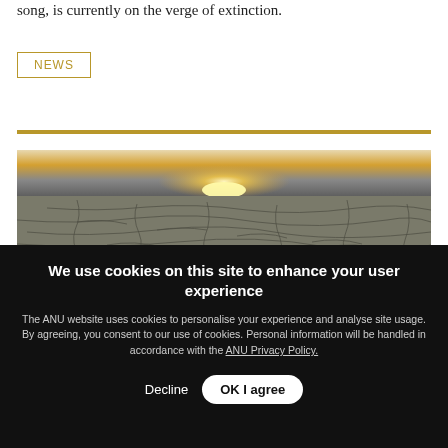song, is currently on the verge of extinction.
NEWS
[Figure (photo): Cracked dry earth with golden sunlight on the horizon, depicting drought or arid landscape conditions.]
We use cookies on this site to enhance your user experience
The ANU website uses cookies to personalise your experience and analyse site usage. By agreeing, you consent to our use of cookies. Personal information will be handled in accordance with the ANU Privacy Policy.
Decline   OK  I agree